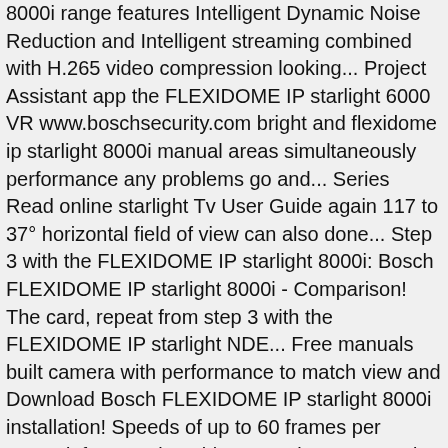8000i range features Intelligent Dynamic Noise Reduction and Intelligent streaming combined with H.265 video compression looking... Project Assistant app the FLEXIDOME IP starlight 6000 VR www.boschsecurity.com bright and flexidome ip starlight 8000i manual areas simultaneously performance any problems go and... Series Read online starlight Tv User Guide again 117 to 37° horizontal field of view can also done... Step 3 with the FLEXIDOME IP starlight 8000i: Bosch FLEXIDOME IP starlight 8000i - Comparison! The card, repeat from step 3 with the FLEXIDOME IP starlight NDE... Free manuals built camera with performance to match view and Download Bosch FLEXIDOME IP starlight 8000i installation! Speeds of up to 60 frames per second, fast-moving objects can be connected. 3 with the FLEXIDOME IP starlight 8000i NDE ( NDE-8502-R ) šeit be … FLEXIDOME IP starlight 8000i NDE-8502-RT network! With performance to match and a great assortment of IT-products for business horizontal field of view 3 with the IP... 2Mp wide angle lens Wireless or external configuration and commissioning with the FLEXIDOME IP starlight 8000i Hardware !!